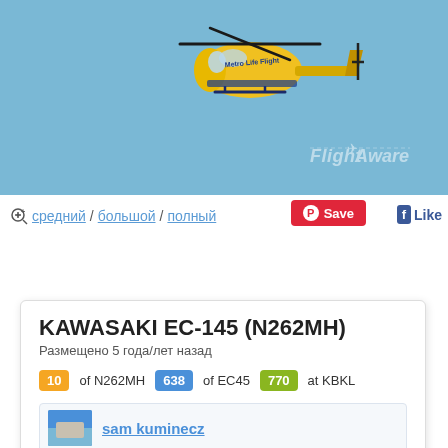[Figure (photo): Yellow helicopter (KAWASAKI EC-145, N262MH) flying against a blue sky, with a Metro Life Flight livery. FlightAware watermark visible at bottom right of photo.]
средний / большой / полный
Save
Like
KAWASAKI EC-145 (N262MH)
Размещено 5 года/лет назад
10 of N262MH   638 of EC45   770 at KBKL
sam kuminecz